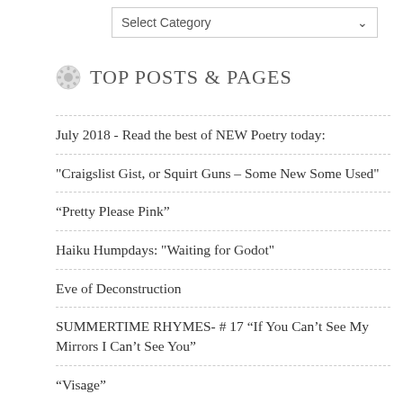[Figure (other): Select Category dropdown widget]
Top Posts & Pages
July 2018 - Read the best of NEW Poetry today:
"Craigslist Gist, or Squirt Guns – Some New Some Used"
“Pretty Please Pink”
Haiku Humpdays: "Waiting for Godot"
Eve of Deconstruction
SUMMERTIME RHYMES- # 17 “If You Can’t See My Mirrors I Can’t See You”
“Visage”